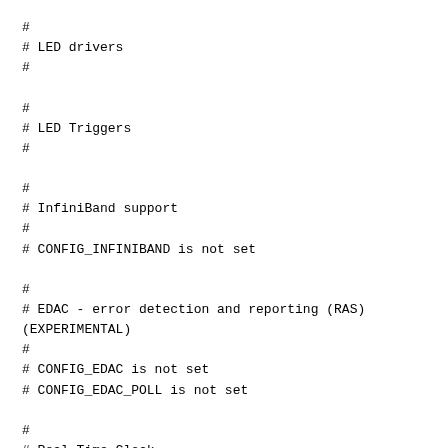#
# LED drivers
#

#
# LED Triggers
#

#
# InfiniBand support
#
# CONFIG_INFINIBAND is not set

#
# EDAC - error detection and reporting (RAS)(EXPERIMENTAL)
#
# CONFIG_EDAC is not set
# CONFIG_EDAC_POLL is not set

#
# Real Time Clock
#
# CONFIG_RTC_CLASS is not set

#
# DMA Engine support
#
# CONFIG_DMA_ENGINE is not set